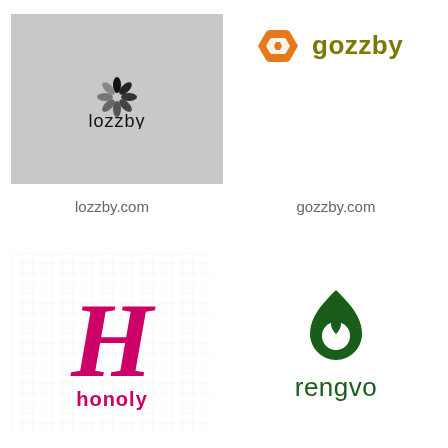[Figure (logo): Lozzby logo: spinning wheel icon above text 'lozzby' on gray background]
[Figure (logo): Gozzby logo: orange hexagon icon with 'gozzby' text in olive/dark yellow]
lozzby.com
gozzby.com
[Figure (logo): Honoly logo: decorative magenta/pink script H letter above 'honoly' text in magenta, on grid background]
[Figure (logo): Rengvo logo: dark green flame/water drop icon above 'rengvo' text in dark green]